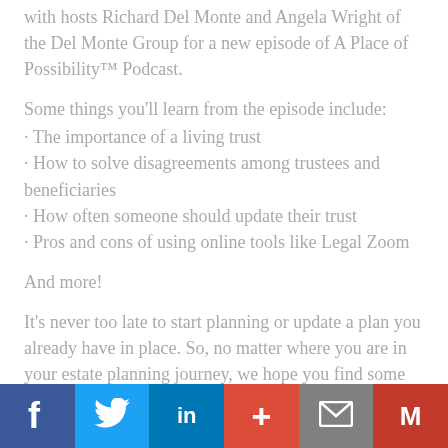with hosts Richard Del Monte and Angela Wright of the Del Monte Group for a new episode of A Place of Possibility™ Podcast.
Some things you'll learn from the episode include:
· The importance of a living trust
· How to solve disagreements among trustees and beneficiaries
· How often someone should update their trust
· Pros and cons of using online tools like Legal Zoom
And more!
It's never too late to start planning or update a plan you already have in place. So, no matter where you are in your estate planning journey, we hope you find some inspiration to get
[Figure (infographic): Social sharing bar with six buttons: Facebook (dark blue, f icon), Twitter (light blue, bird icon), LinkedIn (blue, in icon), Google+ (red-orange, + icon), Email (gray, envelope icon), Gmail (red, M icon)]